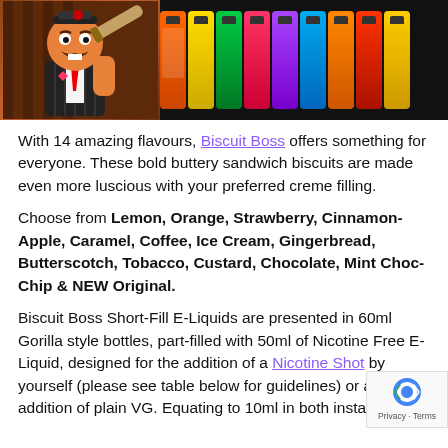[Figure (photo): Biscuit Boss banner image showing a cartoon mascot chef on the left and a row of colorful Biscuit Boss e-liquid bottles on the right against a dark background]
With 14 amazing flavours, Biscuit Boss offers something for everyone. These bold buttery sandwich biscuits are made even more luscious with your preferred creme filling.
Choose from Lemon, Orange, Strawberry, Cinnamon-Apple, Caramel, Coffee, Ice Cream, Gingerbread, Butterscotch, Tobacco, Custard, Chocolate, Mint Choc-Chip & NEW Original.
Biscuit Boss Short-Fill E-Liquids are presented in 60ml Gorilla style bottles, part-filled with 50ml of Nicotine Free E-Liquid, designed for the addition of a Nicotine Shot by yourself (please see table below for guidelines) or an addition of plain VG. Equating to 10ml in both instances.